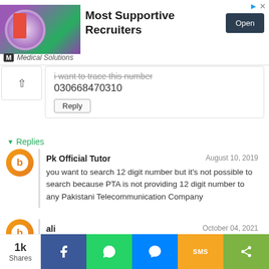[Figure (screenshot): Advertisement banner: woman in red dress with 'Most Supportive Recruiters' text, Medical Solutions logo, and Open button]
I want to trace this number
030668470310
Reply
Replies
Pk Official Tutor
August 10, 2019
you want to search 12 digit number but it's not possible to search because PTA is not providing 12 digit number to any Pakistani Telecommunication Company
ali
October 04, 2021
plz help me, i want to know information
1k Shares